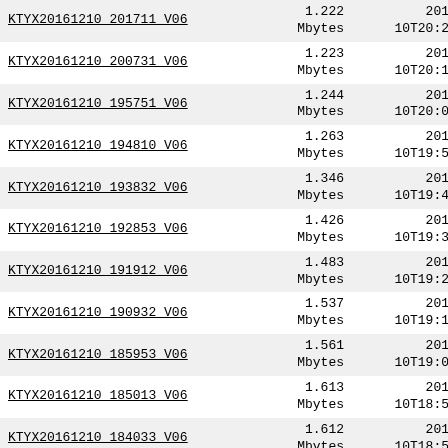| Name | Size | Date |
| --- | --- | --- |
| KTYX20161210_201711_V06 | 1.222 Mbytes | 2016-12-10T20:26:45Z |
| KTYX20161210_200731_V06 | 1.223 Mbytes | 2016-12-10T20:17:04Z |
| KTYX20161210_195751_V06 | 1.244 Mbytes | 2016-12-10T20:07:24Z |
| KTYX20161210_194810_V06 | 1.263 Mbytes | 2016-12-10T19:57:44Z |
| KTYX20161210_193832_V06 | 1.346 Mbytes | 2016-12-10T19:48:05Z |
| KTYX20161210_192853_V06 | 1.426 Mbytes | 2016-12-10T19:38:26Z |
| KTYX20161210_191912_V06 | 1.483 Mbytes | 2016-12-10T19:28:46Z |
| KTYX20161210_190932_V06 | 1.537 Mbytes | 2016-12-10T19:19:06Z |
| KTYX20161210_185953_V06 | 1.561 Mbytes | 2016-12-10T19:09:26Z |
| KTYX20161210_185013_V06 | 1.613 Mbytes | 2016-12-10T18:59:45Z |
| KTYX20161210_184033_V06 | 1.612 Mbytes | 2016-12-10T18:50:06Z |
| KTYX20161210_183054_V06 | 1.596 Mbytes | 2016-12-10T18:40:27Z |